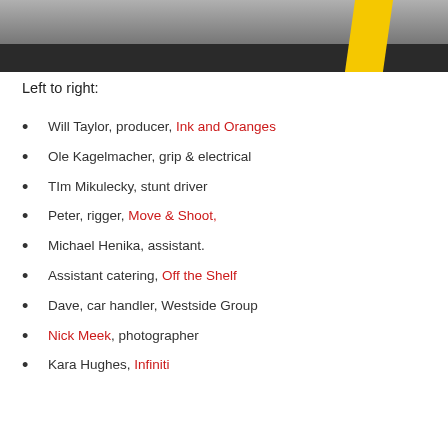[Figure (photo): Top portion of a photo showing a road/track with a yellow line and dark asphalt surface, likely an automotive shoot location.]
Left to right:
Will Taylor, producer, Ink and Oranges
Ole Kagelmacher, grip & electrical
TIm Mikulecky, stunt driver
Peter, rigger, Move & Shoot,
Michael Henika, assistant.
Assistant catering, Off the Shelf
Dave, car handler, Westside Group
Nick Meek, photographer
Kara Hughes, Infiniti